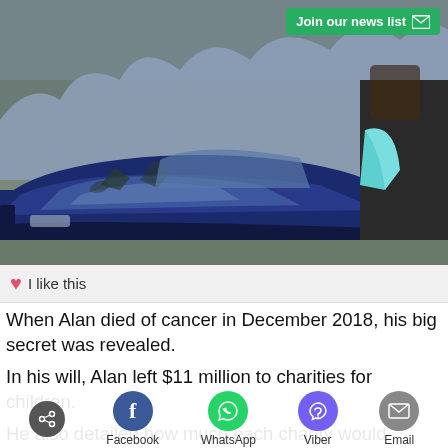[Figure (photo): A dark blue sports car parked outdoors, with a person standing next to it wearing a teal/light blue sling on their arm and a dark jacket. Trees reflected in the car hood.]
I like this
When Alan died of cancer in December 2018, his big secret was revealed.
In his will, Alan left $11 million to charities for children.
He also detailed how much each charity would receive, with $2 million being donated to an organization for children that helps babies born to drug-addicted mothers.